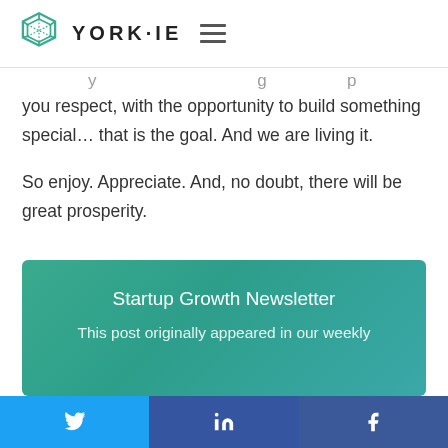YORK·IE
you respect, with the opportunity to build something special... that is the goal. And we are living it.
So enjoy. Appreciate. And, no doubt, there will be great prosperity.
[Figure (infographic): Teal gradient newsletter signup box with title 'Startup Growth Newsletter' and subtitle 'This post originally appeared in our weekly']
Startup Growth Newsletter
This post originally appeared in our weekly
Twitter share | LinkedIn share | Facebook share